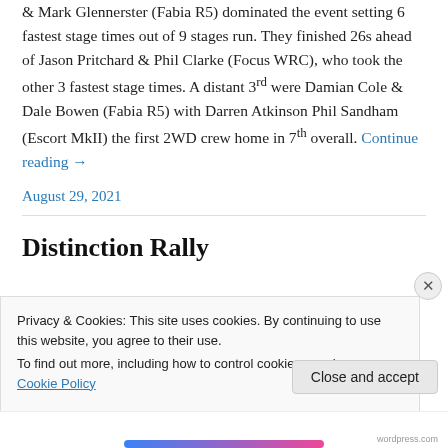& Mark Glennerster (Fabia R5) dominated the event setting 6 fastest stage times out of 9 stages run. They finished 26s ahead of Jason Pritchard & Phil Clarke (Focus WRC), who took the other 3 fastest stage times. A distant 3rd were Damian Cole & Dale Bowen (Fabia R5) with Darren Atkinson Phil Sandham (Escort MkII) the first 2WD crew home in 7th overall. Continue reading →
August 29, 2021
Privacy & Cookies: This site uses cookies. By continuing to use this website, you agree to their use.
To find out more, including how to control cookies, see here: Cookie Policy